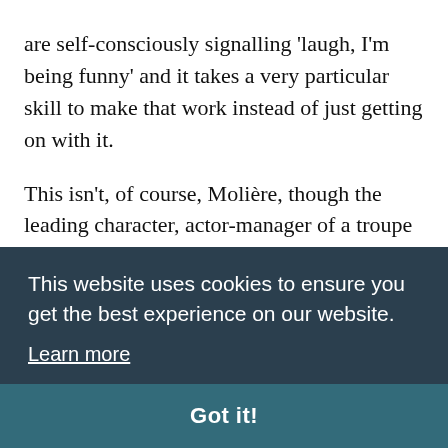are self-consciously signalling 'laugh, I'm being funny' and it takes a very particular skill to make that work instead of just getting on with it.
This isn't, of course, Molière, though the leading character, actor-manager of a troupe of players, is called Orgon Poqueline, combining of the name of the original play's leading character with Molière's family name. It really makes nothing of the original's attack on hypocrisy and false piety
[partially obscured text behind cookie banner]
This website uses cookies to ensure you get the best experience on our website.
Learn more
Got it!